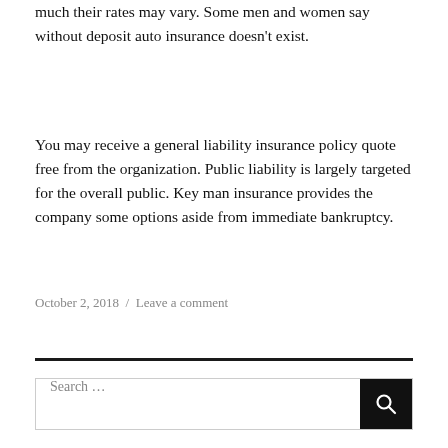much their rates may vary. Some men and women say without deposit auto insurance doesn't exist.
You may receive a general liability insurance policy quote free from the organization. Public liability is largely targeted for the overall public. Key man insurance provides the company some options aside from immediate bankruptcy.
October 2, 2018 / Leave a comment
Search ...